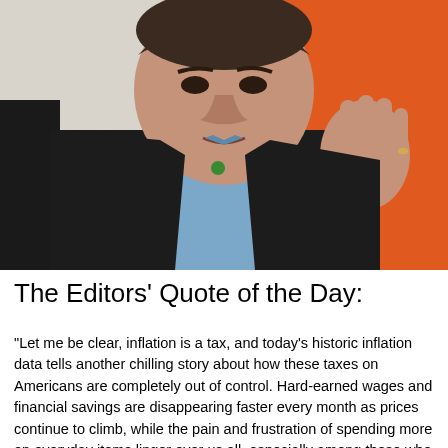[Figure (photo): A middle-aged man in a dark suit with a light blue shirt and a small green pin, gesturing with his right hand raised, photographed against an orange background.]
The Editors’ Quote of the Day:
“Let me be clear, inflation is a tax, and today’s historic inflation data tells another chilling story about how these taxes on Americans are completely out of control. Hard-earned wages and financial savings are disappearing faster every month as prices continue to climb, while the pain and frustration of spending more on everyday items linger over us all, especially among those who can afford it the least.